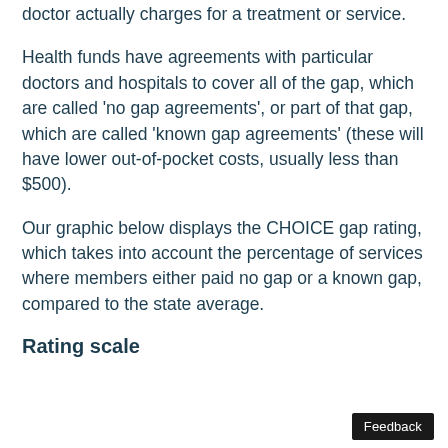doctor actually charges for a treatment or service.
Health funds have agreements with particular doctors and hospitals to cover all of the gap, which are called 'no gap agreements', or part of that gap, which are called 'known gap agreements' (these will have lower out-of-pocket costs, usually less than $500).
Our graphic below displays the CHOICE gap rating, which takes into account the percentage of services where members either paid no gap or a known gap, compared to the state average.
Rating scale